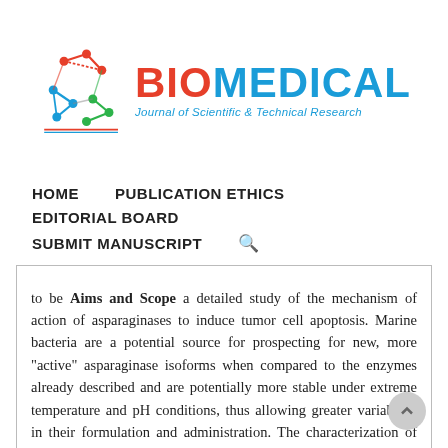[Figure (logo): Biomedical Journal of Scientific & Technical Research logo with molecular network graphic and text]
HOME   PUBLICATION ETHICS   EDITORIAL BOARD   SUBMIT MANUSCRIPT
Aims and Scope
Article Processing Charges
Articles in Press
Author Guidelines
Editorial Board
to be Aims and Scope a detailed study of the mechanism of action of asparaginases to induce tumor cell apoptosis. Marine bacteria are a potential source for prospecting for new, more active asparaginase isoforms when compared to the enzymes already described and are potentially more stable under extreme temperature and pH conditions, thus allowing greater variability in their formulation and administration. The characterization of new asparaginases from sources not yet described